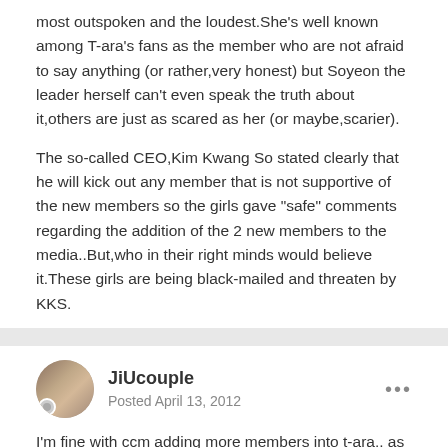most outspoken and the loudest.She's well known among T-ara's fans as the member who are not afraid to say anything (or rather,very honest) but Soyeon the leader herself can't even speak the truth about it,others are just as scared as her (or maybe,scarier).

The so-called CEO,Kim Kwang So stated clearly that he will kick out any member that is not supportive of the new members so the girls gave "safe" comments regarding the addition of the 2 new members to the media..But,who in their right minds would believe it.These girls are being black-mailed and threaten by KKS.
JiUcouple
Posted April 13, 2012
I'm fine with ccm adding more members into t-ara.. as long as he doesn't make any members from the current t-ara members leave.